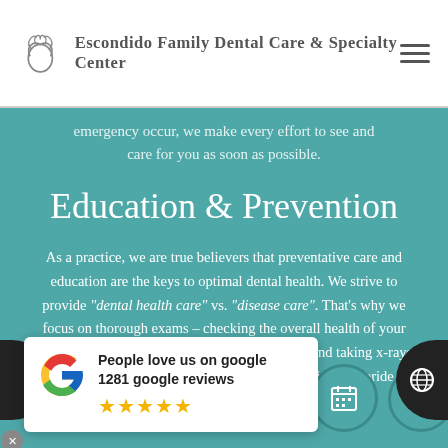Escondido Family Dental Care & Specialty Center
emergency occur, we make every effort to see and care for you as soon as possible.
Education & Prevention
As a practice, we are true believers that preventative care and education are the keys to optimal dental health. We strive to provide "dental health care" vs. "disease care". That's why we focus on thorough exams – checking the overall health of your teeth and gums, performing oral cancer exams, and taking x-rays when necessary. We also know that routine cleanings, fluoride are all helpful in
People love us on google
1281 google reviews
★★★★★